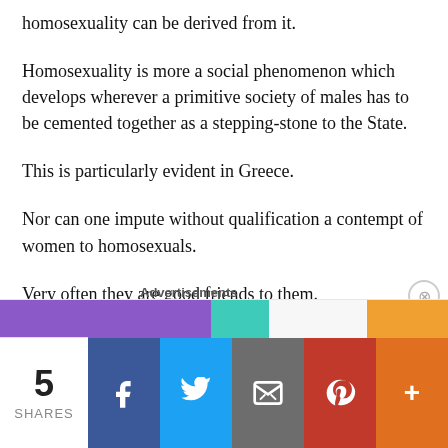homosexuality can be derived from it.
Homosexuality is more a social phenomenon which develops wherever a primitive society of males has to be cemented together as a stepping-stone to the State.
This is particularly evident in Greece.
Nor can one impute without qualification a contempt of women to homosexuals.
Very often they are good friends to them.
Advertisements | 5 SHARES | Facebook | Twitter | Email | Pinterest | More